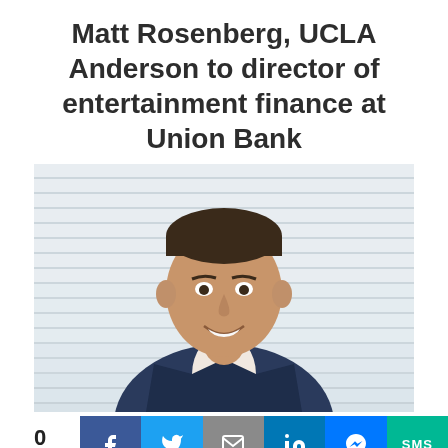Matt Rosenberg, UCLA Anderson to director of entertainment finance at Union Bank
[Figure (photo): Professional headshot of Matt Rosenberg, a man in a navy blue suit with white shirt, smiling, with window blinds in the background]
0 SHARES
[Figure (infographic): Social sharing bar with Facebook, Twitter, Email, LinkedIn, Messenger, and SMS buttons]